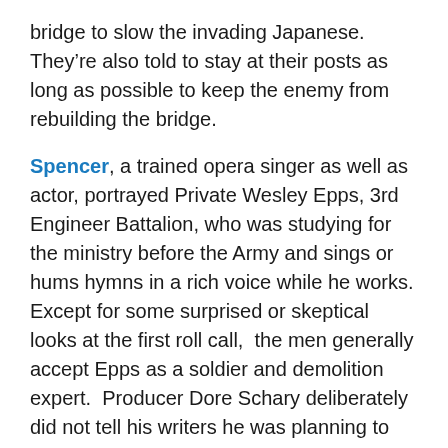bridge to slow the invading Japanese. They're also told to stay at their posts as long as possible to keep the enemy from rebuilding the bridge.
Spencer, a trained opera singer as well as actor, portrayed Private Wesley Epps, 3rd Engineer Battalion, who was studying for the ministry before the Army and sings or hums hymns in a rich voice while he works. Except for some surprised or skeptical looks at the first roll call, the men generally accept Epps as a soldier and demolition expert. Producer Dore Schary deliberately did not tell his writers he was planning to cast an African-American as one of the soldiers, in order to avoid any racial speeches in the script. The NAACP gave MGM two awards for presenting an African-American in an intelligent and sympathetic manner, according to Internet Movie